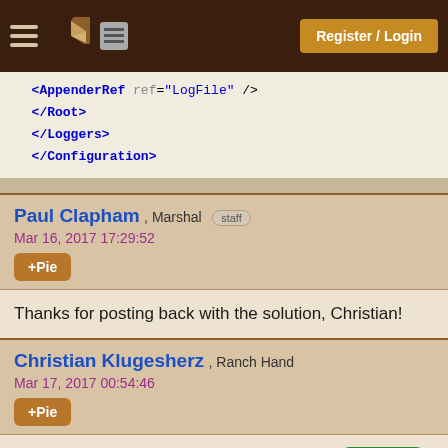Register / Login
<AppenderRef ref="LogFile" />
</Root>
</Loggers>
</Configuration>
Paul Clapham , Marshal staff
Mar 16, 2017 17:29:52
+Pie
Thanks for posting back with the solution, Christian!
Christian Klugesherz , Ranch Hand
Mar 17, 2017 00:54:46
+Pie
You're Welcome
Christian Klugesherz , Ranch Hand